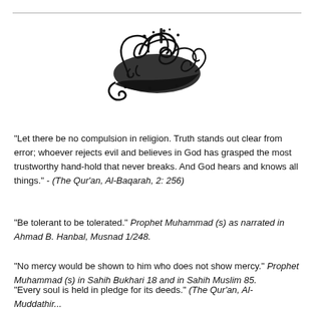[Figure (illustration): Arabic Bismillah calligraphy in black ink, ornate traditional style]
"Let there be no compulsion in religion. Truth stands out clear from error; whoever rejects evil and believes in God has grasped the most trustworthy hand-hold that never breaks. And God hears and knows all things." - (The Qur'an, Al-Baqarah, 2: 256)
"Be tolerant to be tolerated." Prophet Muhammad (s) as narrated in Ahmad B. Hanbal, Musnad 1/248.
"No mercy would be shown to him who does not show mercy." Prophet Muhammad (s) in Sahih Bukhari 18 and in Sahih Muslim 85.
"Every soul is held in pledge for its deeds." (The Qur'an, Al-Muddathir...